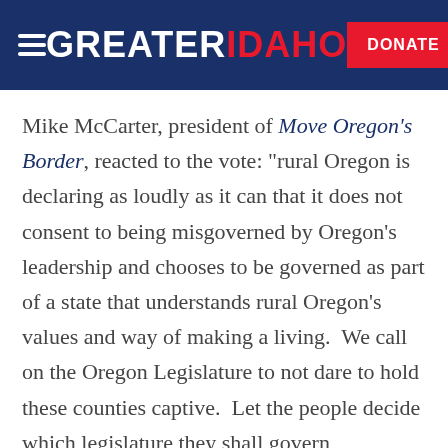GREATER IDAHO — DONATE
Mike McCarter, president of Move Oregon's Border, reacted to the vote: “rural Oregon is declaring as loudly as it can that it does not consent to being misgoverned by Oregon’s leadership and chooses to be governed as part of a state that understands rural Oregon’s values and way of making a living.  We call on the Oregon Legislature to not dare to hold these counties captive.  Let the people decide which legislature they shall govern themselves by.  This